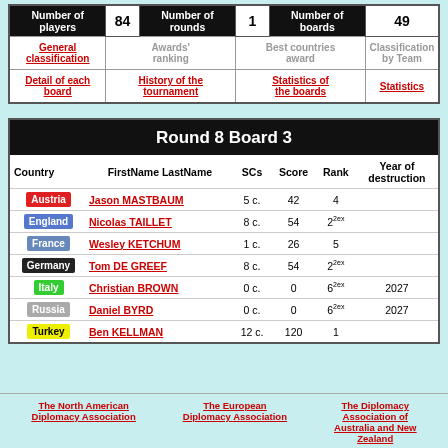| Number of players | 84 | Number of rounds | 1 | Number of boards | 49 |
| --- | --- | --- | --- | --- | --- |
| General classification | Awards' ranking | Best countries award | Classification by Team |
| Detail of each board | History of the tournament | Statistics of the boards | Statistics |
| Country | FirstName LastName | SCs | Score | Rank | Year of destruction |
| --- | --- | --- | --- | --- | --- |
| Austria | Jason MASTBAUM | 5 c. | 42 | 4 |  |
| England | Nicolas TAILLET | 8 c. | 54 | 2^2ex |  |
| France | Wesley KETCHUM | 1 c. | 26 | 5 |  |
| Germany | Tom DE GREEF | 8 c. | 54 | 2^2ex |  |
| Italy | Christian BROWN | 0 c. | 0 | 6^2ex | 2027 |
| Russia | Daniel BYRD | 0 c. | 0 | 6^2ex | 2027 |
| Turkey | Ben KELLMAN | 12 c. | 120 | 1 |  |
The North American Diplomacy Association
The European Diplomacy Association
The Diplomacy Association of Australia and New Zealand